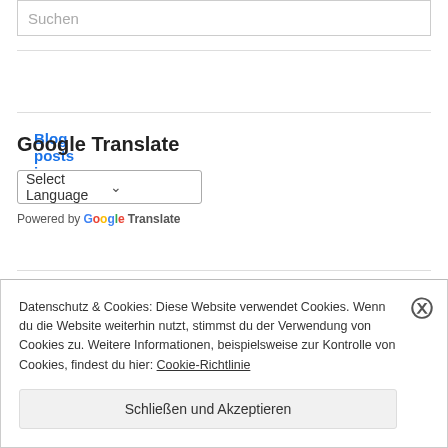Suchen
Blog posts in English
Google Translate
Select Language
Powered by Google Translate
Neue Beiträge abonnieren
Datenschutz & Cookies: Diese Website verwendet Cookies. Wenn du die Website weiterhin nutzt, stimmst du der Verwendung von Cookies zu. Weitere Informationen, beispielsweise zur Kontrolle von Cookies, findest du hier: Cookie-Richtlinie
Schließen und Akzeptieren